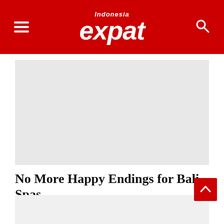Indonesia expat
[Figure (photo): Large image placeholder area (light gray rectangle) — article featured image]
No More Happy Endings for Bali Spas
[Figure (photo): Second image placeholder area (light gray rectangle) — article content image]